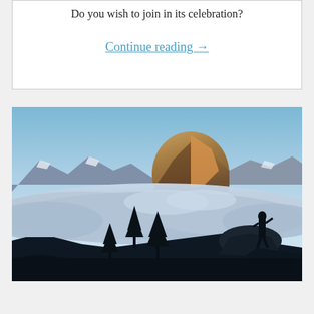Do you wish to join in its celebration?
Continue reading →
[Figure (photo): A silhouette of a person standing on a rocky peak above a sea of clouds, with Half Dome and snow-capped mountains in the background under a clear blue sky. Silhouetted pine trees are visible in the foreground. Yosemite National Park scene at sunrise or sunset.]